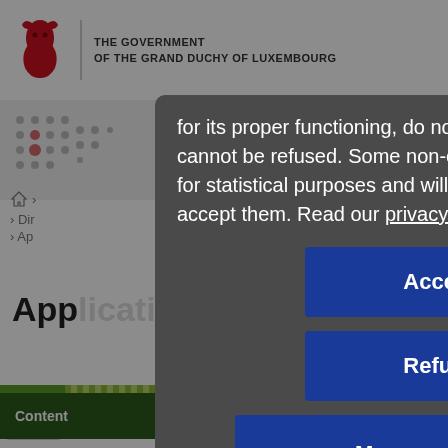THE GOVERNMENT OF THE GRAND DUCHY OF LUXEMBOURG
for its proper functioning, do not collect personal data and cannot be refused. Some non-essential cookies are used for statistical purposes and will only be activated if you accept them. Read our privacy policy.
Accept
Refuse
Manage cookies
Content
Menu
Non re